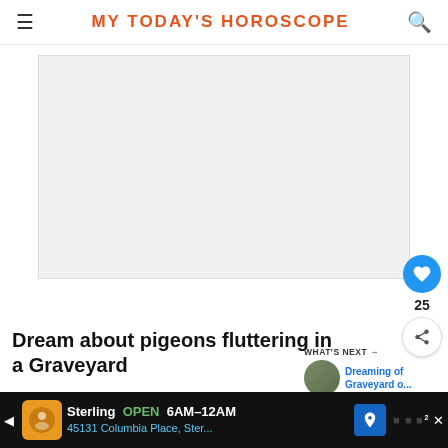MY TODAY'S HOROSCOPE
[Figure (other): Advertisement placeholder banner image area (light gray rectangle)]
Dream about pigeons fluttering in a Graveyard
[Figure (photo): WHAT'S NEXT → Dreaming of Graveyard o... thumbnail with circular photo of graveyard scene]
This dream implies that sadness haunts you
[Figure (other): Bottom advertisement banner: Sterling OPEN 6AM–12AM, 45131 Columbia Place, Ster...]